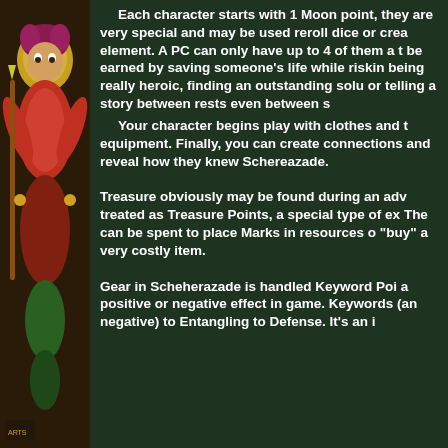[Figure (illustration): Illustrated fantasy character on the left side of the page, colorful artwork with reds and greens]
Each character starts with 1 Moon point, they are very special and may be used reroll dice or create element. A PC can only have up to 4 of them a t be earned by saving someone's life while riskin being really heroic, finding an outstanding solu or telling a story between rests even between s Your character begins play with clothes and t equipment. Finally, you can create connections and reveal how they knew Schereazade.
Treasure obviously may be found during an adv treated as Treasure Points, a special type of ex The can be spent to place Marks in resources o "buy" a very costly item.
Gear in Scheherazade is handled Keyword Poi a positive or negative effect in game. Keywords (an negative) to Entangling to Defense. It's an i